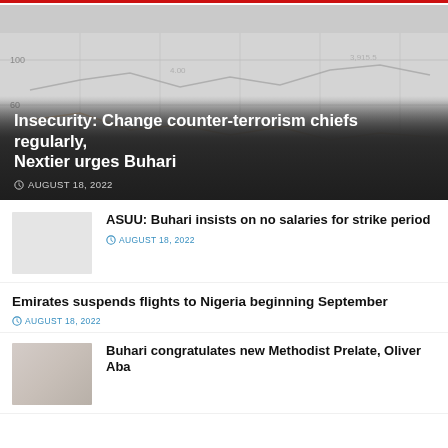[Figure (continuous-plot): Background line chart with faint gray gridlines and two faint lines (gray and orange/tan), partially visible behind a dark gradient overlay. Y-axis shows values around 100, 60. Chart appears to show trend data over time.]
Insecurity: Change counter-terrorism chiefs regularly, Nextier urges Buhari
AUGUST 18, 2022
ASUU: Buhari insists on no salaries for strike period
AUGUST 18, 2022
Emirates suspends flights to Nigeria beginning September
AUGUST 18, 2022
Buhari congratulates new Methodist Prelate, Oliver Aba